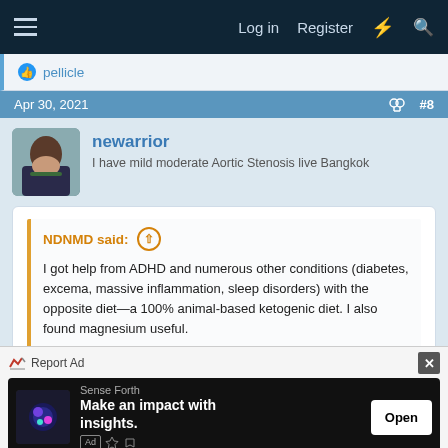≡  Log in  Register  ⚡ 🔍
👍 pellicle
Apr 30, 2021  #8
newarrior
I have mild moderate Aortic Stenosis live Bangkok
NDNMD said: ↑
I got help from ADHD and numerous other conditions (diabetes, excema, massive inflammation, sleep disorders) with the opposite diet—a 100% animal-based ketogenic diet. I also found magnesium useful.
Keto is cool if you keep the fat out of your diet
Report Ad
Sense Forth
Make an impact with insights.
Open